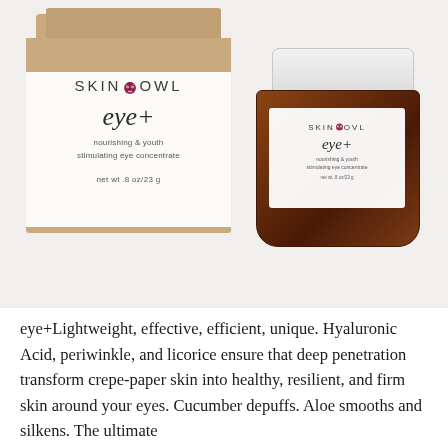[Figure (photo): Product photo showing SkinOwl eye+ box packaging (kraft cardboard with white label) next to an amber glass jar with white lid, also labeled SkinOwl eye+. Box shows brand name SKINOWL with owl icon, product name 'eye+', description 'nourishing & youth stimulating eye concentrate', net wt .8 oz/23 g.]
eye+Lightweight, effective, efficient, unique. Hyaluronic Acid, periwinkle, and licorice ensure that deep penetration transform crepe-paper skin into healthy, resilient, and firm skin around your eyes. Cucumber depuffs. Aloe smooths and silkens. The ultimate